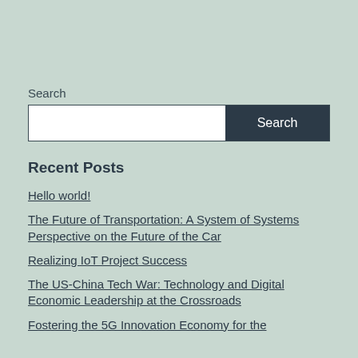Search
Search
Recent Posts
Hello world!
The Future of Transportation: A System of Systems Perspective on the Future of the Car
Realizing IoT Project Success
The US-China Tech War: Technology and Digital Economic Leadership at the Crossroads
Fostering the 5G Innovation Economy for the